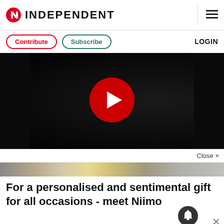INDEPENDENT
Contribute  Subscribe  LOGIN
[Figure (screenshot): Dark video player with large red play button circle in center, showing a dimly lit indoor scene]
Close ×
[Figure (photo): Ad banner image showing parcels and packages on a table]
For a personalised and sentimental gift for all occasions - meet Niimo